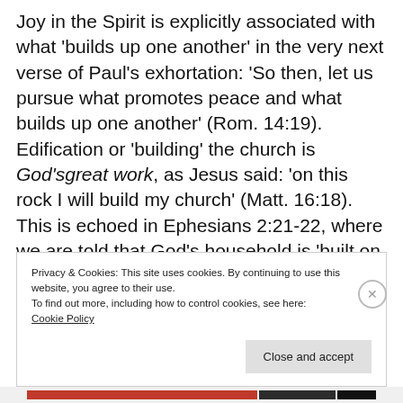Joy in the Spirit is explicitly associated with what 'builds up one another' in the very next verse of Paul's exhortation: 'So then, let us pursue what promotes peace and what builds up one another' (Rom. 14:19). Edification or 'building' the church is God'sgreat work, as Jesus said: 'on this rock I will build my church' (Matt. 16:18). This is echoed in Ephesians 2:21-22, where we are told that God's household is 'built on the
Privacy & Cookies: This site uses cookies. By continuing to use this website, you agree to their use.
To find out more, including how to control cookies, see here:
Cookie Policy
Close and accept